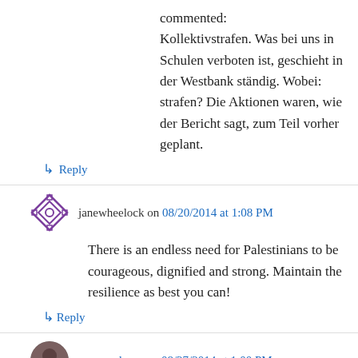commented:
Kollektivstrafen. Was bei uns in Schulen verboten ist, geschieht in der Westbank ständig. Wobei: strafen? Die Aktionen waren, wie der Bericht sagt, zum Teil vorher geplant.
↳ Reply
janewheelock on 08/20/2014 at 1:08 PM
There is an endless need for Palestinians to be courageous, dignified and strong. Maintain the resilience as best you can!
↳ Reply
womanclergy on 08/27/2014 at 1:00 PM